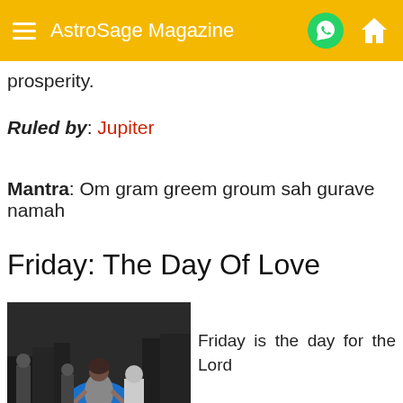AstroSage Magazine
prosperity.
Ruled by: Jupiter
Mantra: Om gram greem groum sah gurave namah
Friday: The Day Of Love
[Figure (photo): Black and white street photo of a woman in a blue dress dancing among a crowd of onlookers]
Friday is the day for the Lord